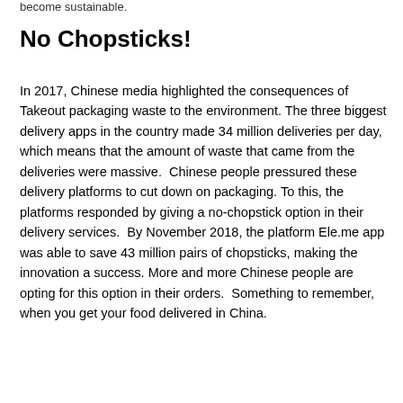become sustainable.
No Chopsticks!
In 2017, Chinese media highlighted the consequences of Takeout packaging waste to the environment. The three biggest delivery apps in the country made 34 million deliveries per day, which means that the amount of waste that came from the deliveries were massive.  Chinese people pressured these delivery platforms to cut down on packaging. To this, the platforms responded by giving a no-chopstick option in their delivery services.  By November 2018, the platform Ele.me app was able to save 43 million pairs of chopsticks, making the innovation a success. More and more Chinese people are opting for this option in their orders.  Something to remember, when you get your food delivered in China.